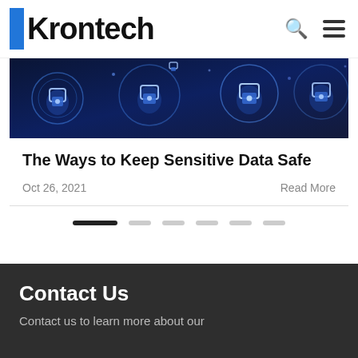Krontech
[Figure (photo): Dark blue background with glowing padlock icons and digital security imagery]
The Ways to Keep Sensitive Data Safe
Oct 26, 2021    Read More
[Figure (other): Pagination indicator with 6 dots, first one dark/active and remaining ones light gray]
Contact Us
Contact us to learn more about our